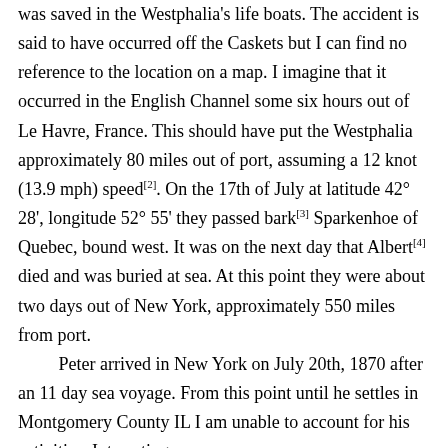was saved in the Westphalia's life boats. The accident is said to have occurred off the Caskets but I can find no reference to the location on a map. I imagine that it occurred in the English Channel some six hours out of Le Havre, France. This should have put the Westphalia approximately 80 miles out of port, assuming a 12 knot (13.9 mph) speed[2]. On the 17th of July at latitude 42° 28', longitude 52° 55' they passed bark[3] Sparkenhoe of Quebec, bound west. It was on the next day that Albert[4] died and was buried at sea. At this point they were about two days out of New York, approximately 550 miles from port. Peter arrived in New York on July 20th, 1870 after an 11 day sea voyage. From this point until he settles in Montgomery County IL I am unable to account for his activities. Interesting